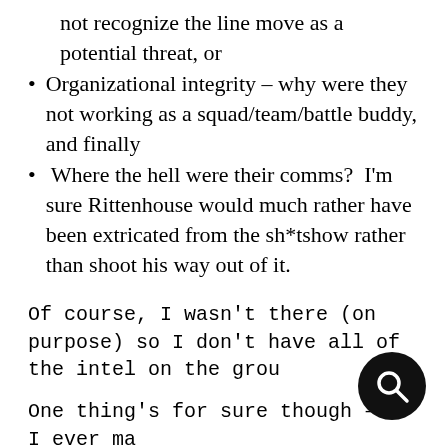not recognize the line move as a potential threat, or
Organizational integrity – why were they not working as a squad/team/battle buddy, and finally
Where the hell were their comms?  I'm sure Rittenhouse would much rather have been extricated from the sh*tshow rather than shoot his way out of it.
Of course, I wasn't there (on purpose) so I don't have all of the intel on the ground
One thing's for sure though – if I ever make it a point to attend a riot. I'll have comms.